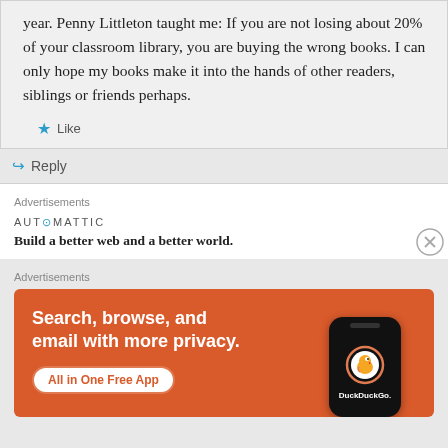year. Penny Littleton taught me: If you are not losing about 20% of your classroom library, you are buying the wrong books. I can only hope my books make it into the hands of other readers, siblings or friends perhaps.
★ Like
↪ Reply
Advertisements
AUT⊙MATTIC
Build a better web and a better world.
Advertisements
[Figure (illustration): DuckDuckGo advertisement banner with orange background showing headline 'Search, browse, and email with more privacy.' with 'All in One Free App' button and a phone mockup with DuckDuckGo logo]